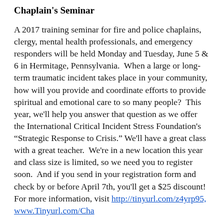Chaplain's Seminar
A 2017 training seminar for fire and police chaplains, clergy, mental health professionals, and emergency responders will be held Monday and Tuesday, June 5 & 6 in Hermitage, Pennsylvania.  When a large or long-term traumatic incident takes place in your community, how will you provide and coordinate efforts to provide spiritual and emotional care to so many people?  This year, we'll help you answer that question as we offer the International Critical Incident Stress Foundation's “Strategic Response to Crisis.”  We'll have a great class with a great teacher.  We're in a new location this year and class size is limited, so we need you to register soon.  And if you send in your registration form and check by or before April 7th, you'll get a $25 discount!  For more information, visit http://tinyurl.com/z4yrp95, www.Tinyurl.com/Cha...